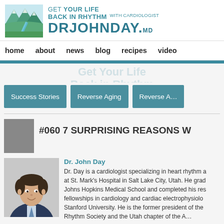[Figure (logo): Dr. John Day website logo with mountain/river illustration and text 'Get Your Life Back In Rhythm with Cardiologist Dr John Day MD']
home   about   news   blog   recipes   video
Success Stories
Reverse Aging
Reverse A…
#060 7 SURPRISING REASONS W
Dr. John Day
Dr. Day is a cardiologist specializing in heart rhythm at St. Mark's Hospital in Salt Lake City, Utah. He graduated Johns Hopkins Medical School and completed his residency fellowships in cardiology and cardiac electrophysiology at Stanford University. He is the former president of the Heart Rhythm Society and the Utah chapter of the A…